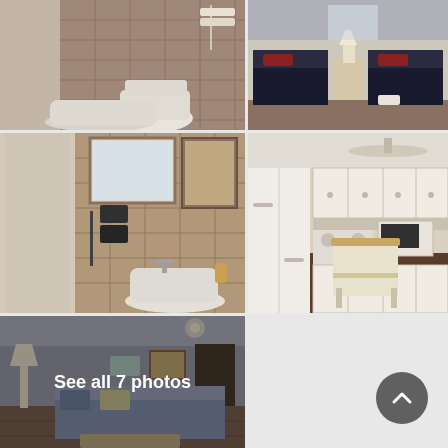[Figure (photo): Bathroom interior with shower curtain, toilet, and bathtub. Tan/beige tile walls.]
[Figure (photo): Bedroom with two dark navy beds with red pillows, a nightstand with lamp, and wood flooring.]
[Figure (photo): Bathroom close-up with tiled walls, towel bar, mirror, and pedestal sink.]
[Figure (photo): Kitchen with white cabinets, refrigerator, microwave, stove, and wood-topped island on dark wood floor.]
[Figure (photo): Living room with comfortable seating, lamp, and wood flooring. Overlay text reads 'See all 7 photos'.]